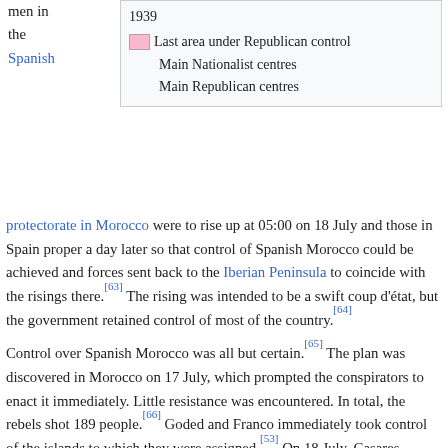men in the Spanish
[Figure (illustration): Map legend box showing: '1939', a pink color swatch labeled 'Last area under Republican control', 'Main Nationalist centres', 'Main Republican centres']
protectorate in Morocco were to rise up at 05:00 on 18 July and those in Spain proper a day later so that control of Spanish Morocco could be achieved and forces sent back to the Iberian Peninsula to coincide with the risings there.[63] The rising was intended to be a swift coup d'état, but the government retained control of most of the country.[64]
Control over Spanish Morocco was all but certain.[65] The plan was discovered in Morocco on 17 July, which prompted the conspirators to enact it immediately. Little resistance was encountered. In total, the rebels shot 189 people.[66] Goded and Franco immediately took control of the islands to which they were assigned.[53] On 18 July, Casares Quiroga refused an offer of help from the CNT and Unión General de Trabajadores (UGT), leading the groups to proclaim a general strike—in effect, mobilizing. They opened weapons caches, some buried since the 1934 risings.[65] The paramilitary security